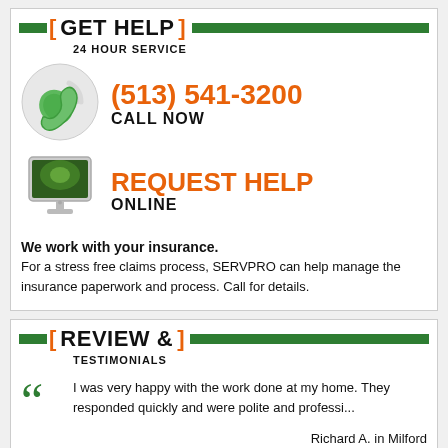[ GET HELP ]
24 HOUR SERVICE
[Figure (illustration): Green phone icon with wireless signal waves]
(513) 541-3200 CALL NOW
[Figure (illustration): Desktop computer monitor with green screen]
REQUEST HELP ONLINE
We work with your insurance.
For a stress free claims process, SERVPRO can help manage the insurance paperwork and process. Call for details.
[ REVIEW & ] TESTIMONIALS
I was very happy with the work done at my home. They responded quickly and were polite and professi...
Richard A. in Milford